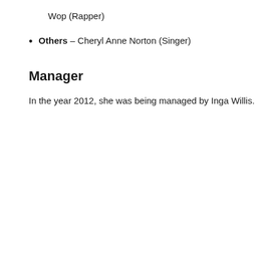Wop (Rapper)
Others – Cheryl Anne Norton (Singer)
Manager
In the year 2012, she was being managed by Inga Willis.